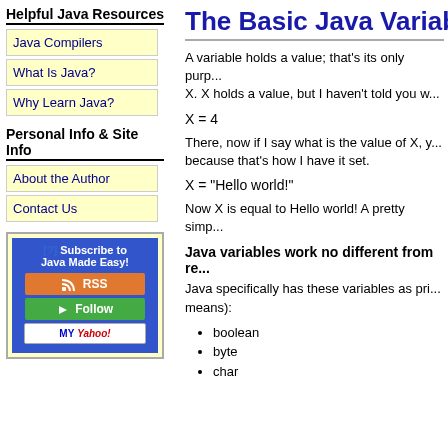Helpful Java Resources
Java Compilers
What Is Java?
Why Learn Java?
Personal Info & Site Info
About the Author
Contact Us
[Figure (screenshot): RSS/Follow subscription widget with blue background, RSS button in orange, Follow button in green, and My Yahoo button]
The Basic Java Variables
A variable holds a value; that's its only purp... X. X holds a value, but I haven't told you w...
X = 4
There, now if I say what is the value of X, y... because that's how I have it set.
X = "Hello world!"
Now X is equal to Hello world! A pretty simp...
Java variables work no different from re...
Java specifically has these variables as pri... means):
boolean
byte
char